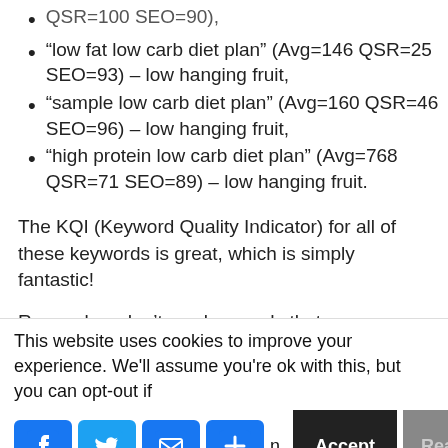“low fat low carb diet plan” (Avg=146 QSR=25 SEO=93) – low hanging fruit,
“sample low carb diet plan” (Avg=160 QSR=46 SEO=96) – low hanging fruit,
“high protein low carb diet plan” (Avg=768 QSR=71 SEO=89) – low hanging fruit.
The KQI (Keyword Quality Indicator) for all of these keywords is great, which is simply fantastic!
Remember, don’t use keywords that:
This website uses cookies to improve your experience. We'll assume you're ok with this, but you can opt-out if
u n. Accept Read More